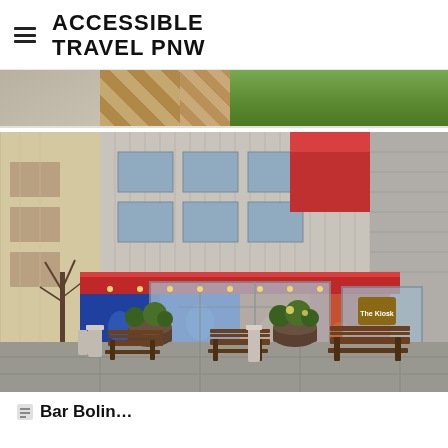ACCESSIBLE TRAVEL PNW
[Figure (photo): Top portion of a photo showing a paved walkway with brick patterned pavers, a grassy lawn area in the background.]
[Figure (photo): Photo of the exterior of a building with colorful murals on the lower facade, outdoor seating with wooden benches and planters along a sidewalk. The building has metal panel siding on the upper floors and a red awning trim. A sign reading 'The Kiosk' is visible in the window on the right side.]
Bar Bolin...